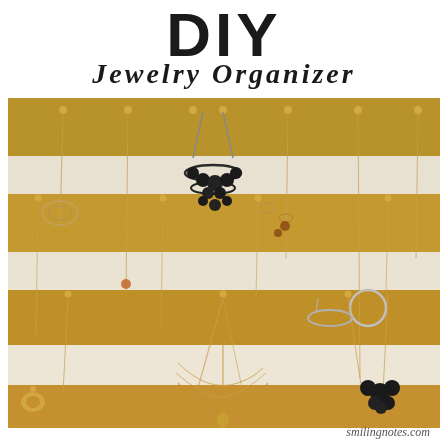DIY
Jewelry Organizer
[Figure (photo): A DIY jewelry organizer board with gold and white horizontal stripes. Multiple necklaces, bracelets, and earrings hang from small gold hooks mounted on the striped board. Various jewelry pieces including a black beaded statement necklace, delicate chains, bracelets, and floral pendants are displayed.]
smilingnotes.com